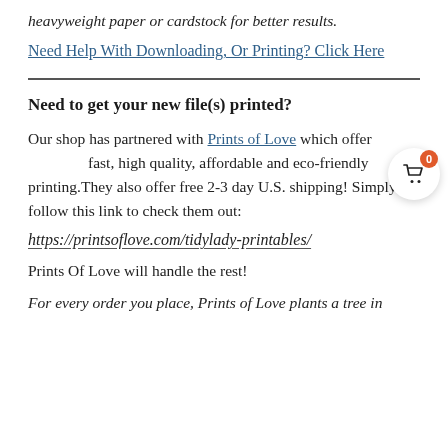heavyweight paper or cardstock for better results.
Need Help With Downloading, Or Printing? Click Here
Need to get your new file(s) printed?
Our shop has partnered with Prints of Love which offers fast, high quality, affordable and eco-friendly printing.They also offer free 2-3 day U.S. shipping! Simply follow this link to check them out:
https://printsoflove.com/tidylady-printables/
Prints Of Love will handle the rest!
For every order you place, Prints of Love plants a tree in